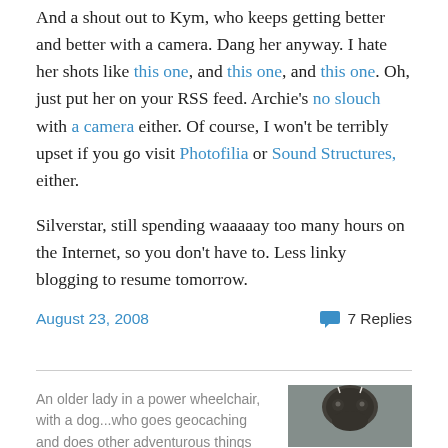And a shout out to Kym, who keeps getting better and better with a camera. Dang her anyway. I hate her shots like this one, and this one, and this one. Oh, just put her on your RSS feed. Archie's no slouch with a camera either. Of course, I won't be terribly upset if you go visit Photofilia or Sound Structures, either.
Silverstar, still spending waaaaay too many hours on the Internet, so you don't have to. Less linky blogging to resume tomorrow.
August 23, 2008   💬 7 Replies
An older lady in a power wheelchair, with a dog...who goes geocaching and does other adventurous things just to keep life exciting.